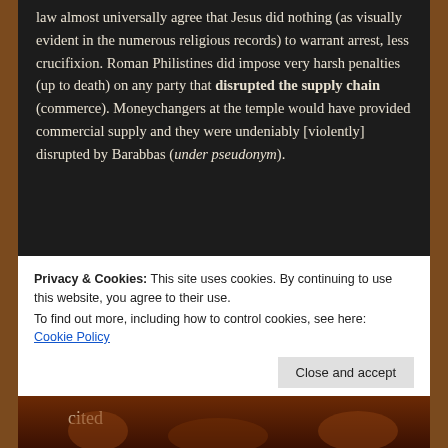law almost universally agree that Jesus did nothing (as visually evident in the numerous religious records) to warrant arrest, less crucifixion. Roman Philistines did impose very harsh penalties (up to death) on any party that disrupted the supply chain (commerce). Moneychangers at the temple would have provided commercial supply and they were undeniably [violently] disrupted by Barabbas (under pseudonym).
The physical crucifixion event (per its
[Figure (photo): Religious painting depicting the crucifixion scene with crosses against a blue sky with moon.]
Privacy & Cookies: This site uses cookies. By continuing to use this website, you agree to their use.
To find out more, including how to control cookies, see here: Cookie Policy
[Figure (photo): Bottom strip showing a religious painting or image, partially visible.]